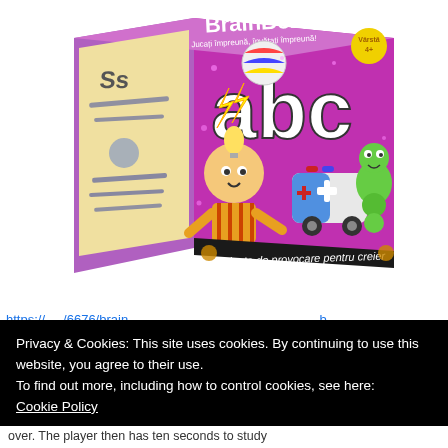[Figure (photo): A BrainBox ABC educational board game box shown at an angle. The box is purple/pink with cartoon characters including a child with a light bulb hat, an ambulance, a green dinosaur, a beach ball, and large white letters 'abc'. Text on the box reads 'Zece minute de provocare pentru creier' (Ten minutes of brain challenge). The left side shows learning/educational imagery.]
https://...../6676/brain...
Privacy & Cookies: This site uses cookies. By continuing to use this website, you agree to their use.
To find out more, including how to control cookies, see here:
Cookie Policy
Close and accept
over. The player then has ten seconds to study